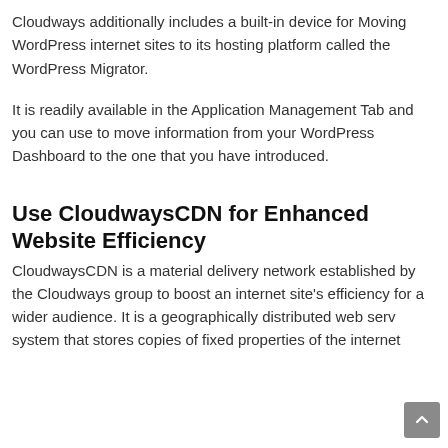Cloudways additionally includes a built-in device for Moving WordPress internet sites to its hosting platform called the WordPress Migrator.
It is readily available in the Application Management Tab and you can use to move information from your WordPress Dashboard to the one that you have introduced.
Use CloudwaysCDN for Enhanced Website Efficiency
CloudwaysCDN is a material delivery network established by the Cloudways group to boost an internet site's efficiency for a wider audience. It is a geographically distributed web serv system that stores copies of fixed properties of the internet